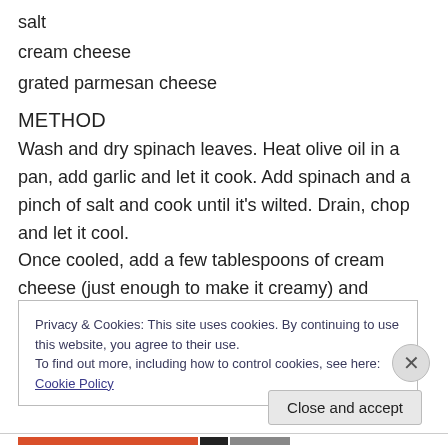salt
cream cheese
grated parmesan cheese
METHOD
Wash and dry spinach leaves. Heat olive oil in a pan, add garlic and let it cook. Add spinach and a pinch of salt and cook until it's wilted. Drain, chop and let it cool.
Once cooled, add a few tablespoons of cream cheese (just enough to make it creamy) and combine.
Preheat oven to 200°C.
Privacy & Cookies: This site uses cookies. By continuing to use this website, you agree to their use.
To find out more, including how to control cookies, see here: Cookie Policy